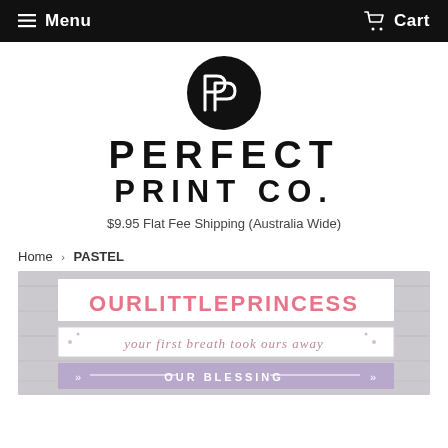Menu  Cart
[Figure (logo): Perfect Print Co. logo — black circle with stylized PP monogram above the text PERFECT PRINT CO.]
$9.95 Flat Fee Shipping (Australia Wide)
Home › PASTEL
[Figure (photo): Partial view of a pastel nursery print set showing text 'OUR LITTLE PRINCESS', 'your first breath took ours away', and 'OUR BLESSING' with pink and lavender color scheme on a grey wood background.]